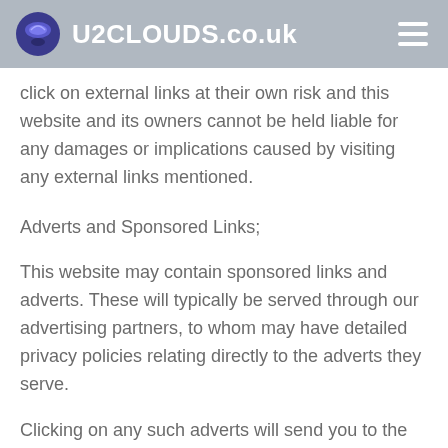U2CLOUDS.co.uk
click on external links at their own risk and this website and its owners cannot be held liable for any damages or implications caused by visiting any external links mentioned.
Adverts and Sponsored Links;
This website may contain sponsored links and adverts. These will typically be served through our advertising partners, to whom may have detailed privacy policies relating directly to the adverts they serve.
Clicking on any such adverts will send you to the advertiser's website through a referral program which may use cookies and will track the number of